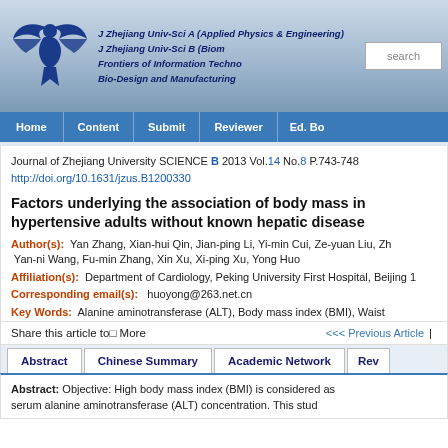J Zhejiang Univ-Sci A (Applied Physics & Engineering)
J Zhejiang Univ-Sci B (Biom...
Frontiers of Information Techno...
Bio-Design and Manufacturing
Home | Content | Submit | Reviewer | Ed. Bo
Journal of Zhejiang University SCIENCE B 2013 Vol.14 No.8 P.743-748
http://doi.org/10.1631/jzus.B1200330
Factors underlying the association of body mass in hypertensive adults without known hepatic disease
Author(s): Yan Zhang, Xian-hui Qin, Jian-ping Li, Yi-min Cui, Ze-yuan Liu, Zh... Yan-ni Wang, Fu-min Zhang, Xin Xu, Xi-ping Xu, Yong Huo
Affiliation(s): Department of Cardiology, Peking University First Hospital, Beijing 1
Corresponding email(s): huoyong@263.net.cn
Key Words: Alanine aminotransferase (ALT), Body mass index (BMI), Waist
Share this article to□ More
<<< Previous Article |
Abstract | Chinese Summary | Academic Network | Rev
Abstract: Objective: High body mass index (BMI) is considered as serum alanine aminotransferase (ALT) concentration. This stud